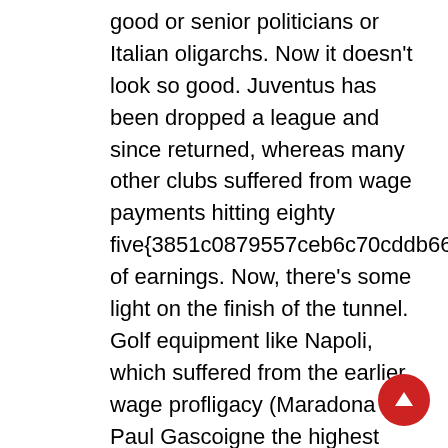good or senior politicians or Italian oligarchs. Now it doesn't look so good. Juventus has been dropped a league and since returned, whereas many other clubs suffered from wage payments hitting eighty five{3851c0879557ceb6c70cddb6630c7df9a9750acfd53fffec21979e603af26faa} of earnings. Now, there's some light on the finish of the tunnel. Golf equipment like Napoli, which suffered from the earlier wage profligacy (Maradona and Paul Gascoigne the highest profile luxuries), are again in the black and highflying in Serie A. Oh, and Italy nonetheless has four of the highest 20 richest golf equipment in Europe. She will not be the last feminine to set foot on the baseball diamond for Little League. In actual fact, I wager that many little girls were impressed by her 70 mph fast ball, her athleticism, and her toughness. You just wait!